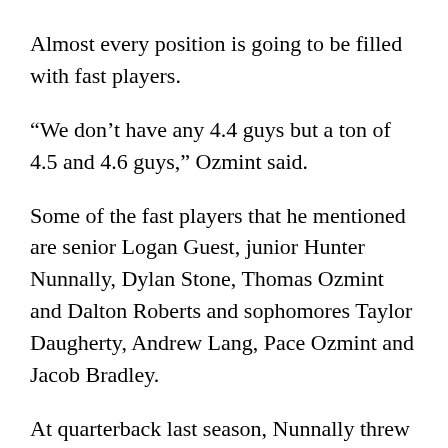Almost every position is going to be filled with fast players.
“We don’t have any 4.4 guys but a ton of 4.5 and 4.6 guys,” Ozmint said.
Some of the fast players that he mentioned are senior Logan Guest, junior Hunter Nunnally, Dylan Stone, Thomas Ozmint and Dalton Roberts and sophomores Taylor Daugherty, Andrew Lang, Pace Ozmint and Jacob Bradley.
At quarterback last season, Nunnally threw for 1,193 yards and 10 touchdowns.